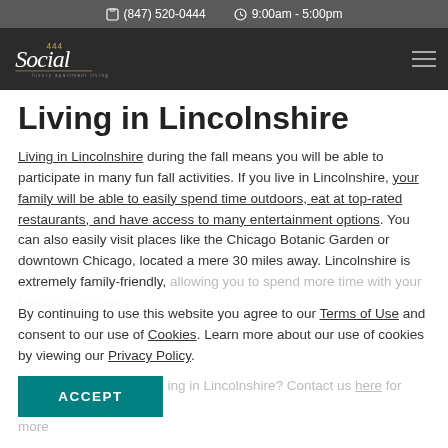(847) 520-0444   9:00am - 5:00pm
[Figure (logo): 444 Social luxury apartment living logo in white script on dark background with hamburger menu icon]
Living in Lincolnshire
Living in Lincolnshire during the fall means you will be able to participate in many fun fall activities. If you live in Lincolnshire, your family will be able to easily spend time outdoors, eat at top-rated restaurants, and have access to many entertainment options. You can also easily visit places like the Chicago Botanic Garden or downtown Chicago, located a mere 30 miles away. Lincolnshire is extremely family-friendly, allowing you to spend more time with your family day-to-day.
By continuing to use this website you agree to our Terms of Use and consent to our use of Cookies. Learn more about our use of cookies by viewing our Privacy Policy.
ACCEPT